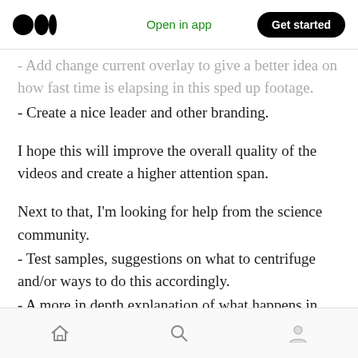Medium logo | Open in app | Get started
- Add change current overlay to give a better idea on how fast time is elapsing in this sped up footage.
- Create a nice leader and other branding.
I hope this will improve the overall quality of the videos and create a higher attention span.
Next to that, I'm looking for help from the science community.
- Test samples, suggestions on what to centrifuge and/or ways to do this accordingly.
- A more in depth explanation of what happens in
Home | Search | Profile